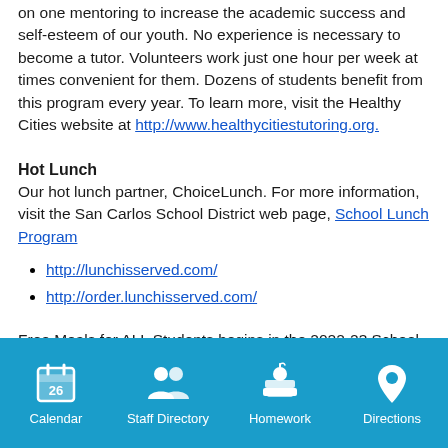on one mentoring to increase the academic success and self-esteem of our youth. No experience is necessary to become a tutor. Volunteers work just one hour per week at times convenient for them. Dozens of students benefit from this program every year. To learn more, visit the Healthy Cities website at http://www.healthycitiestutoring.org.
Hot Lunch
Our hot lunch partner, ChoiceLunch. For more information, visit the San Carlos School District web page, School Lunch Program
http://lunchisserved.com/
http://order.lunchisserved.com/
Free Meals for ALL Students begins in the 2022-23 School Year. Read More HERE
[Figure (infographic): Blue footer bar with four icons: Calendar (showing 26), Staff Directory (two people), Homework (books with apple), Directions (map pin)]